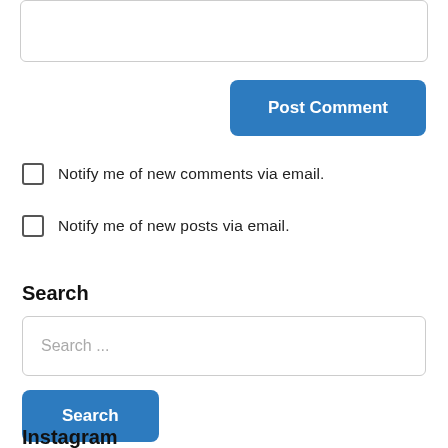[Figure (screenshot): Textarea input box (partially visible at top)]
Post Comment
Notify me of new comments via email.
Notify me of new posts via email.
Search
Search ...
Search
Instagram